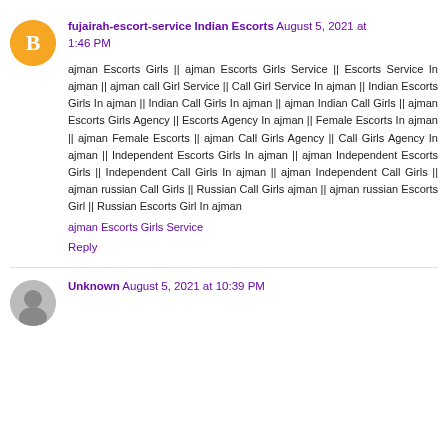fujairah-escort-service Indian Escorts August 5, 2021 at 1:46 PM
ajman Escorts Girls || ajman Escorts Girls Service || Escorts Service In ajman || ajman call Girl Service || Call Girl Service In ajman || Indian Escorts Girls In ajman || Indian Call Girls In ajman || ajman Indian Call Girls || ajman Escorts Girls Agency || Escorts Agency In ajman || Female Escorts In ajman || ajman Female Escorts || ajman Call Girls Agency || Call Girls Agency In ajman || Independent Escorts Girls In ajman || ajman Independent Escorts Girls || Independent Call Girls In ajman || ajman Independent Call Girls || ajman russian Call Girls || Russian Call Girls ajman || ajman russian Escorts Girl || Russian Escorts Girl In ajman
ajman Escorts Girls Service
Reply
Unknown August 5, 2021 at 10:39 PM